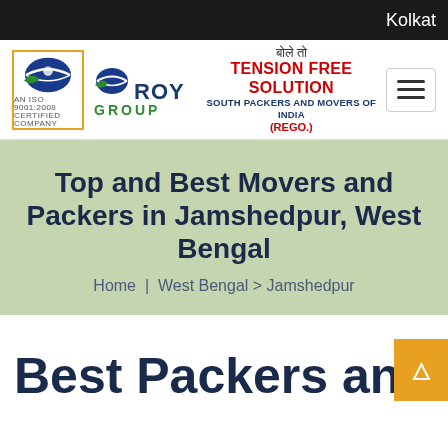Kolkat
[Figure (logo): Roy Group logo with South Packers and Movers of India branding. Tagline: 'TENSION FREE SOLUTION', Hindi text above, SOUTH PACKERS AND MOVERS OF INDIA, (REGO.)]
Top and Best Movers and Packers in Jamshedpur, West Bengal
Home | West Bengal > Jamshedpur
Best Packers and